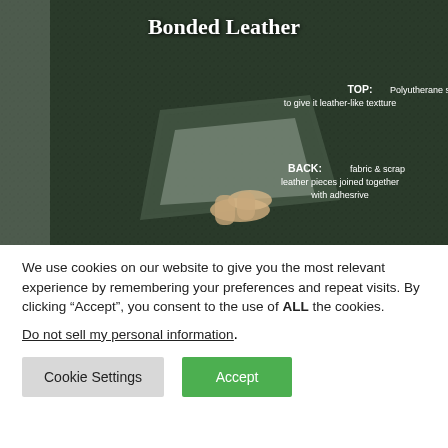[Figure (photo): Close-up photo of bonded leather material being peeled back to show its layers. The dark green/black textured top surface is labeled 'TOP: Polyutherane surface is stamped to give it leather-like textture'. The underside shows fabric and scrap pieces labeled 'BACK: fabric & scrap leather pieces joined together with adhesrive'. A hand finger is visible peeling back the material. The title 'Bonded Leather' appears at the top in bold white text.]
We use cookies on our website to give you the most relevant experience by remembering your preferences and repeat visits. By clicking “Accept”, you consent to the use of ALL the cookies.
Do not sell my personal information.